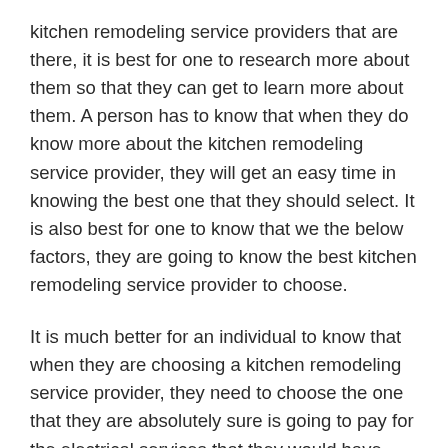kitchen remodeling service providers that are there, it is best for one to research more about them so that they can get to learn more about them. A person has to know that when they do know more about the kitchen remodeling service provider, they will get an easy time in knowing the best one that they should select. It is also best for one to know that we the below factors, they are going to know the best kitchen remodeling service provider to choose.
It is much better for an individual to know that when they are choosing a kitchen remodeling service provider, they need to choose the one that they are absolutely sure is going to pay for the electrical services that they would have received from them. A kitchen remodeling service provider that an individual should choose should always be the one that a person knows that they are having fair rates and also are having the best electrical services. It is